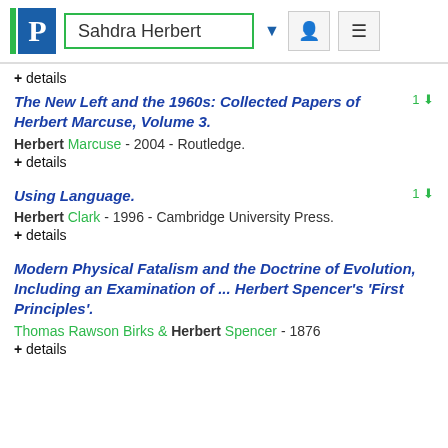Sahdra Herbert
+ details
The New Left and the 1960s: Collected Papers of Herbert Marcuse, Volume 3.
Herbert Marcuse - 2004 - Routledge.
+ details
Using Language.
Herbert Clark - 1996 - Cambridge University Press.
+ details
Modern Physical Fatalism and the Doctrine of Evolution, Including an Examination of ... Herbert Spencer's 'First Principles'.
Thomas Rawson Birks & Herbert Spencer - 1876
+ details